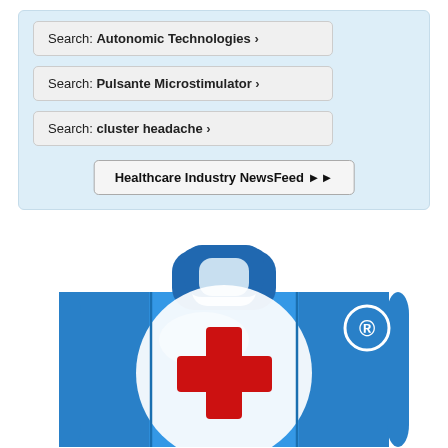Search: Autonomic Technologies ›
Search: Pulsante Microstimulator ›
Search: cluster headache ›
Healthcare Industry NewsFeed ▶▶
[Figure (logo): Blue medical briefcase icon with a red cross on a white circular background and a registered trademark symbol]